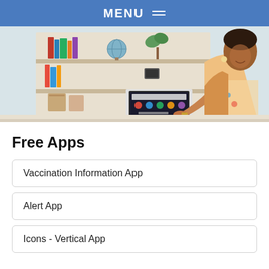MENU
[Figure (photo): A woman sitting at a desk working on a laptop computer, with bookshelves in the background. The laptop screen shows vaccination-related app icons.]
Free Apps
Vaccination Information App
Alert App
Icons - Vertical App